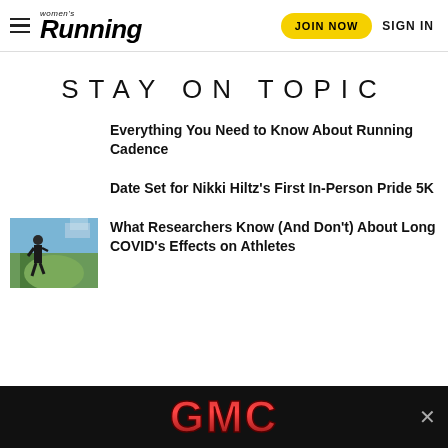women's Running | JOIN NOW | SIGN IN
STAY ON TOPIC
Everything You Need to Know About Running Cadence
Date Set for Nikki Hiltz's First In-Person Pride 5K
[Figure (photo): Person running or standing outdoors against sky background]
What Researchers Know (And Don't) About Long COVID's Effects on Athletes
[Figure (logo): GMC advertisement banner at bottom of page]